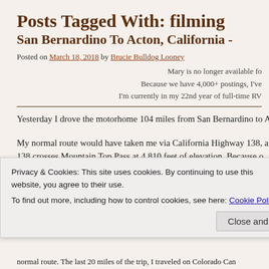Posts Tagged With: filming
San Bernardino To Acton, California -
Posted on March 18, 2018 by Brucie Bulldog Looney
Mary is no longer available fo
Because we have 4,000+ postings, I've
I'm currently in my 22nd year of full-time RV
Yesterday I drove the motorhome 104 miles from San Bernardino to A
My normal route would have taken me via California Highway 138, a
138 crosses Mountain Top Pass at 4,810 feet of elevation. Because o
Privacy & Cookies: This site uses cookies. By continuing to use this website, you agree to their use.
To find out more, including how to control cookies, see here: Cookie Policy
Close and accept
normal route. The last 20 miles of the trip, I traveled on Colorado Can